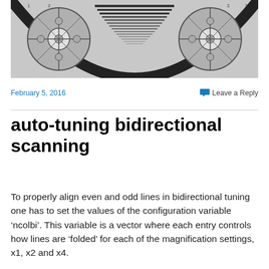[Figure (photo): A test pattern image showing a circular pattern with crosshair-like elements and horizontal lines in the center, in grayscale.]
February 5, 2016
Leave a Reply
auto-tuning bidirectional scanning
To properly align even and odd lines in bidirectional tuning one has to set the values of the configuration variable ‘ncolbi’.  This variable is a vector where each entry controls how lines are ‘folded’ for each of the magnification settings, x1, x2 and x4.